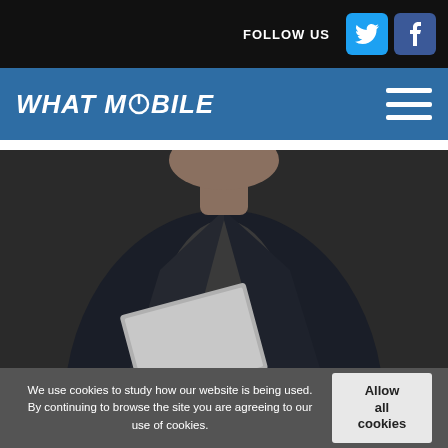FOLLOW US
WHAT MOBILE
[Figure (photo): Person in dark blazer holding a laptop, photographed from chest level against a dark grey background]
We use cookies to study how our website is being used. By continuing to browse the site you are agreeing to our use of cookies.